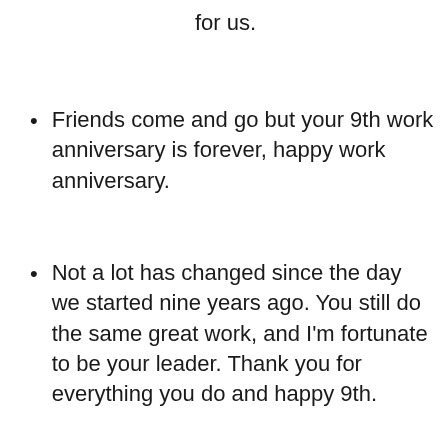for us.
Friends come and go but your 9th work anniversary is forever, happy work anniversary.
Not a lot has changed since the day we started nine years ago. You still do the same great work, and I'm fortunate to be your leader. Thank you for everything you do and happy 9th.